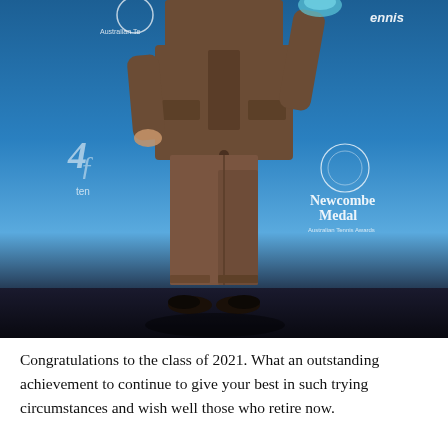[Figure (photo): A person in a brown suit standing in front of a blue Australian Tennis / Newcombe Medal Australian Tennis Awards backdrop, holding a trophy or award above one hand. The person's face is cropped out. They are wearing black dress shoes.]
Congratulations to the class of 2021. What an outstanding achievement to continue to give your best in such trying circumstances and wish well those who retire now.